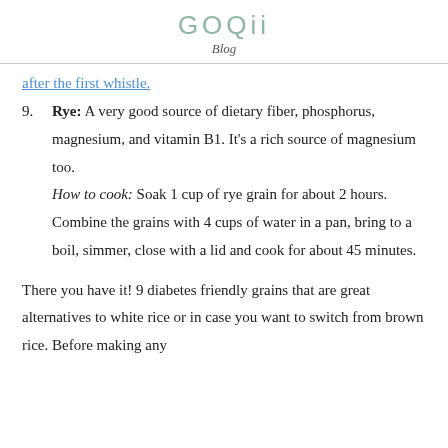GOQii
Blog
after the first whistle.
9. Rye: A very good source of dietary fiber, phosphorus, magnesium, and vitamin B1. It's a rich source of magnesium too. How to cook: Soak 1 cup of rye grain for about 2 hours. Combine the grains with 4 cups of water in a pan, bring to a boil, simmer, close with a lid and cook for about 45 minutes.
There you have it! 9 diabetes friendly grains that are great alternatives to white rice or in case you want to switch from brown rice. Before making any